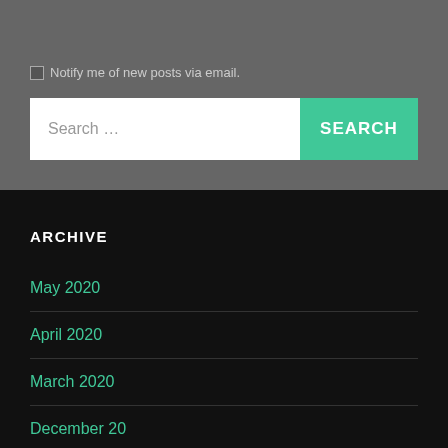Notify me of new posts via email.
Search ...
SEARCH
ARCHIVE
May 2020
April 2020
March 2020
December 2019